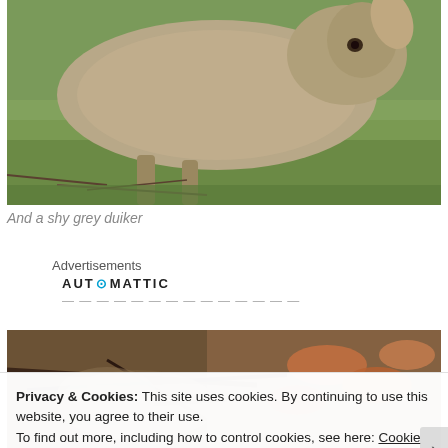[Figure (photo): Close-up photo of a grey duiker (small antelope) with brownish-grey fur, partially cropped, standing in grass]
And a shy grey duiker
Advertisements
[Figure (logo): Automattic logo with blue dot in the middle of the word, followed by partially visible blurred advertisement text]
[Figure (photo): Photo of forest floor with twigs, roots, and dried leaves visible — partially visible, cropped animal blending into background]
Privacy & Cookies: This site uses cookies. By continuing to use this website, you agree to their use.
To find out more, including how to control cookies, see here: Cookie Policy
Close and accept